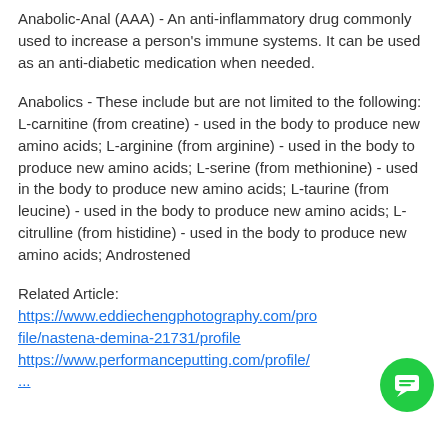Anabolic-Anal (AAA) - An anti-inflammatory drug commonly used to increase a person's immune systems. It can be used as an anti-diabetic medication when needed.
Anabolics - These include but are not limited to the following: L-carnitine (from creatine) - used in the body to produce new amino acids; L-arginine (from arginine) - used in the body to produce new amino acids; L-serine (from methionine) - used in the body to produce new amino acids; L-taurine (from leucine) - used in the body to produce new amino acids; L-citrulline (from histidine) - used in the body to produce new amino acids; Androstened
Related Article: https://www.eddiechengphotography.com/profile/nastena-demina-21731/profile https://www.performanceputting.com/profile/